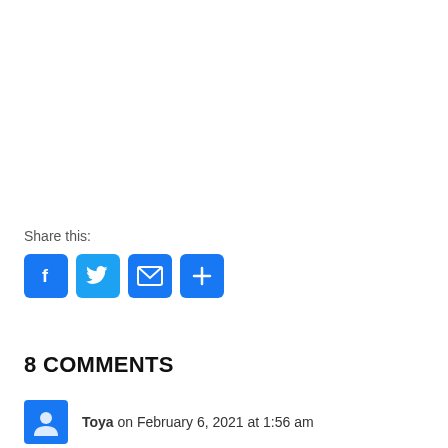Share this:
[Figure (other): Social share buttons: Facebook (blue f icon), Twitter (blue bird icon), Email (blue envelope icon), More/Share (blue plus icon)]
8 COMMENTS
Toya on February 6, 2021 at 1:56 am